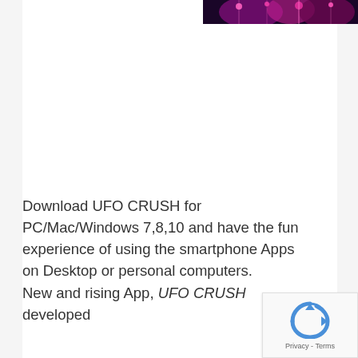[Figure (photo): Partial image visible at top right showing a dark background with purple/magenta lights or stage lighting effect]
Download UFO CRUSH for PC/Mac/Windows 7,8,10 and have the fun experience of using the smartphone Apps on Desktop or personal computers.
New and rising App, UFO CRUSH developed